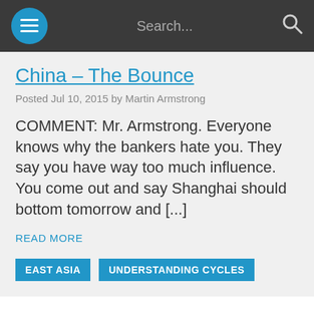Search...
China – The Bounce
Posted Jul 10, 2015 by Martin Armstrong
COMMENT: Mr. Armstrong. Everyone knows why the bankers hate you. They say you have way too much influence. You come out and say Shanghai should bottom tomorrow and [...]
READ MORE
EAST ASIA
UNDERSTANDING CYCLES